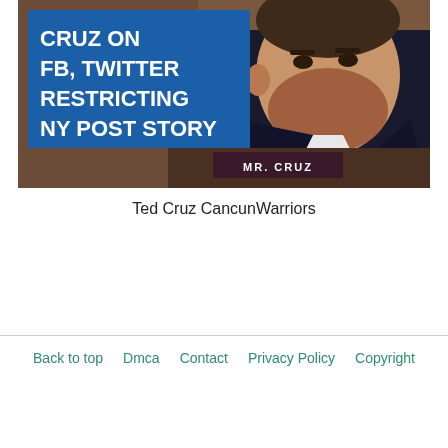[Figure (photo): News thumbnail image showing Ted Cruz at a hearing, with a blue overlay box containing bold white text reading 'CRUZ ON FB, TWITTER RESTRICTING NY POST STORY' and a nameplate reading 'MR. CRUZ']
Ted Cruz CancunWarriors
Back to top   Dmca   Contact   Privacy Policy   Copyright